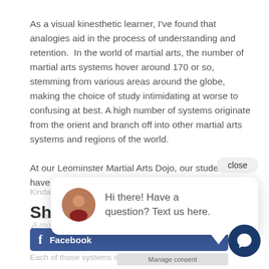As a visual kinesthetic learner, I've found that analogies aid in the process of understanding and retention.  In the world of martial arts, the number of martial arts systems hover around 170 or so, stemming from various areas around the globe, making the choice of study intimidating at worse to confusing at best. A high number of systems originate from the orient and branch off into other martial arts systems and regions of the world.
At our Leominster Martial Arts Dojo, our students have the oppo...
Kindai Inazuro...
Share
Share this post with your friends!
...many of our martial arts systems are known as mother arts.  A mother art, if you think of it akin to...
...can be cut or divided into 16 slices...
Each of those systems is co...
Hi there! Have a question? Text us here.
close
Facebook
Manage consent